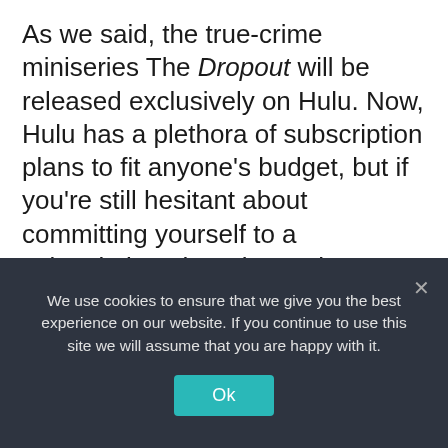As we said, the true-crime miniseries The Dropout will be released exclusively on Hulu. Now, Hulu has a plethora of subscription plans to fit anyone's budget, but if you're still hesitant about committing yourself to a subscription, there is another way. Hulu offers first-time customers a 30-day free trial, so you can enjoy Hulu for 30 days and cancel before you're charged the first month if you're not 100 percent sold on the streaming service.
We use cookies to ensure that we give you the best experience on our website. If you continue to use this site we will assume that you are happy with it.